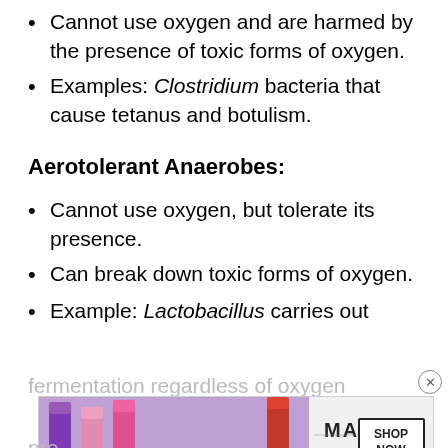Cannot use oxygen and are harmed by the presence of toxic forms of oxygen.
Examples: Clostridium bacteria that cause tetanus and botulism.
Aerotolerant Anaerobes:
Cannot use oxygen, but tolerate its presence.
Can break down toxic forms of oxygen.
Example: Lactobacillus carries out fermentation regardless of oxygen presence.
[Figure (photo): MAC cosmetics advertisement showing lipsticks with 'SHOP NOW' button]